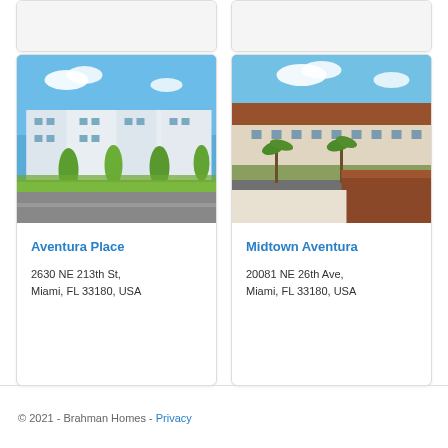[Figure (photo): Partial top of two property cards from previous scroll position (cut off at top)]
[Figure (photo): Aerial/exterior photo of Aventura Place - modern white townhouse buildings with blue sky and green trees]
Aventura Place
2630 NE 213th St,
Miami, FL 33180, USA
[Figure (photo): Aerial photo of Midtown Aventura - Mediterranean style apartment complex with terracotta roof tiles, palm trees, blue sky]
Midtown Aventura
20081 NE 26th Ave,
Miami, FL 33180, USA
© 2021 - Brahman Homes - Privacy